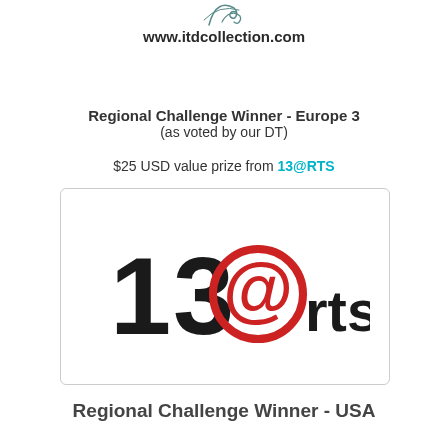[Figure (logo): Decorative script flourish logo at top of page]
www.itdcollection.com
Regional Challenge Winner - Europe 3
(as voted by our DT)
$25 USD value prize from 13@RTS
[Figure (logo): 13@rts logo — stylized text with large red @ symbol, black numerals 13 and lowercase 'rts']
Regional Challenge Winner - USA